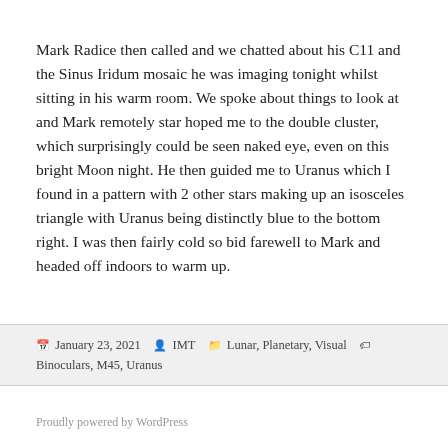Mark Radice then called and we chatted about his C11 and the Sinus Iridum mosaic he was imaging tonight whilst sitting in his warm room. We spoke about things to look at and Mark remotely star hoped me to the double cluster, which surprisingly could be seen naked eye, even on this bright Moon night. He then guided me to Uranus which I found in a pattern with 2 other stars making up an isosceles triangle with Uranus being distinctly blue to the bottom right. I was then fairly cold so bid farewell to Mark and headed off indoors to warm up.
January 23, 2021   IMT   Lunar, Planetary, Visual   Binoculars, M45, Uranus
Proudly powered by WordPress